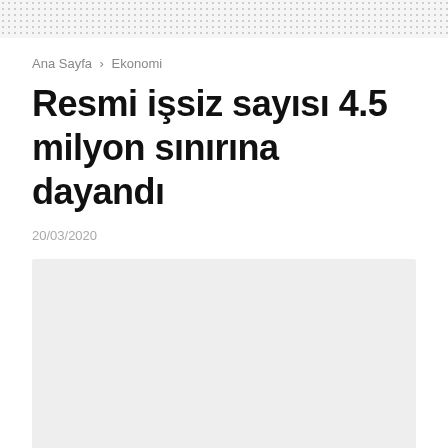Ana Sayfa > Ekonomi
Resmi işsiz sayısı 4.5 milyon sınırına dayandı
20/03/2020
[Figure (photo): Light grey image placeholder rectangle below the article date]